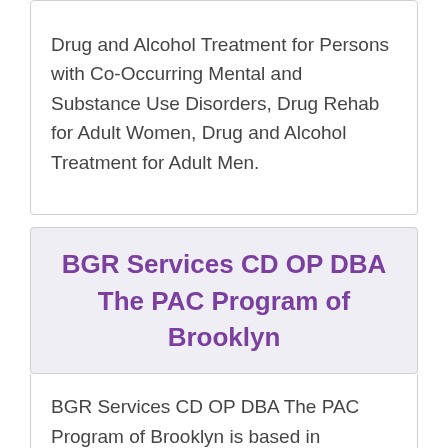Drug and Alcohol Treatment for Persons with Co-Occurring Mental and Substance Use Disorders, Drug Rehab for Adult Women, Drug and Alcohol Treatment for Adult Men.
BGR Services CD OP DBA The PAC Program of Brooklyn
BGR Services CD OP DBA The PAC Program of Brooklyn is based in Brooklyn, New York - 11206.
BGR Services CD OP DBA The PAC Program of Brooklyn allows Cash Payment,